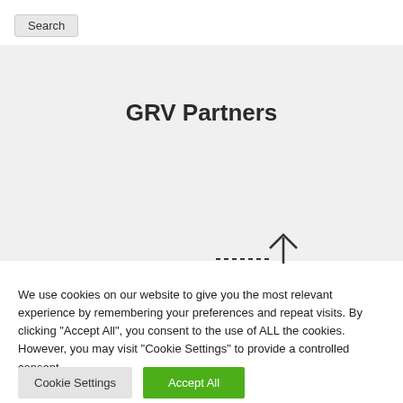Search
GRV Partners
[Figure (other): Arrow/chevron pointing upward with dashed line, partially visible at bottom of hero section]
We use cookies on our website to give you the most relevant experience by remembering your preferences and repeat visits. By clicking "Accept All", you consent to the use of ALL the cookies. However, you may visit "Cookie Settings" to provide a controlled consent.
Cookie Settings
Accept All